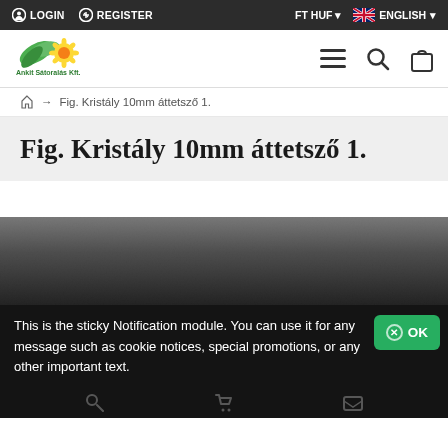LOGIN   REGISTER   FT HUF   ENGLISH
[Figure (logo): Green leaf and yellow sunflower logo with Hungarian text]
→   Fig. Kristály 10mm áttetsző 1.
Fig. Kristály 10mm áttetsző 1.
[Figure (photo): Dark grey textured surface product image]
This is the sticky Notification module. You can use it for any message such as cookie notices, special promotions, or any other important text.